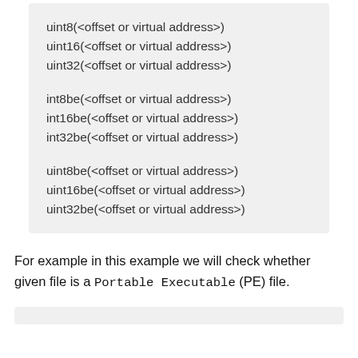uint8(<offset or virtual address>)
uint16(<offset or virtual address>)
uint32(<offset or virtual address>)

int8be(<offset or virtual address>)
int16be(<offset or virtual address>)
int32be(<offset or virtual address>)

uint8be(<offset or virtual address>)
uint16be(<offset or virtual address>)
uint32be(<offset or virtual address>)
For example in this example we will check whether given file is a Portable Executable (PE) file.